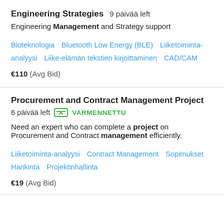Engineering Strategies  9 päivää left
Engineering Management and Strategy support
Bioteknologia   Bluetooth Low Energy (BLE)   Liiketoiminta-analyysi   Liike-elämän tekstien kirjoittaminen   CAD/CAM
€110  (Avg Bid)
Procurement and Contract Management Project
6 päivää left   VARMENNETTU
Need an expert who can complete a project on Procurement and Contract management efficiently.
Liiketoiminta-analyysi   Contract Management   Sopimukset   Hankinta   Projektinhallinta
€19  (Avg Bid)